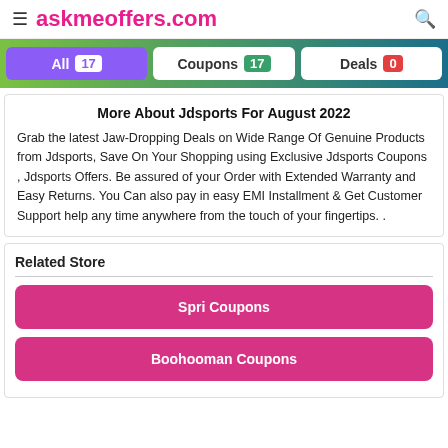askmeoffers.com
All 17  Coupons 17  Deals 0
More About Jdsports For August 2022
Grab the latest Jaw-Dropping Deals on Wide Range Of Genuine Products from Jdsports, Save On Your Shopping using Exclusive Jdsports Coupons , Jdsports Offers. Be assured of your Order with Extended Warranty and Easy Returns. You Can also pay in easy EMI Installment & Get Customer Support help any time anywhere from the touch of your fingertips. .
Related Store
Spri Coupons
Boohooman Coupons